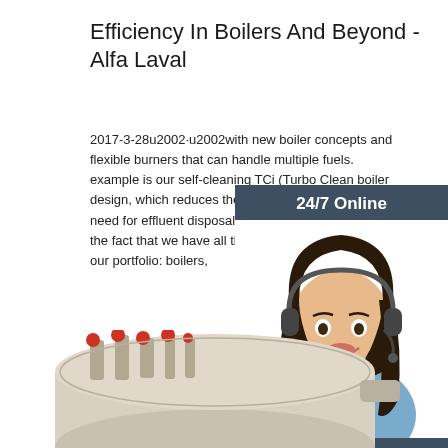Efficiency In Boilers And Beyond - Alfa Laval
2017-3-28u2002·u2002with new boiler concepts and flexible burners that can handle multiple fuels. example is our self-cleaning TCi (Turbo Clean boiler design, which reduces the need for wate and the need for effluent disposal. What remai unchanged is the fact that we have all the nec components within our portfolio: boilers,
[Figure (photo): Customer service representative wearing a headset, smiling, with '24/7 Online' header, 'Click here for free chat!' text and 'QUOTATION' button in an orange/dark teal chat widget]
[Figure (photo): Industrial boiler equipment partially visible at the bottom of the page]